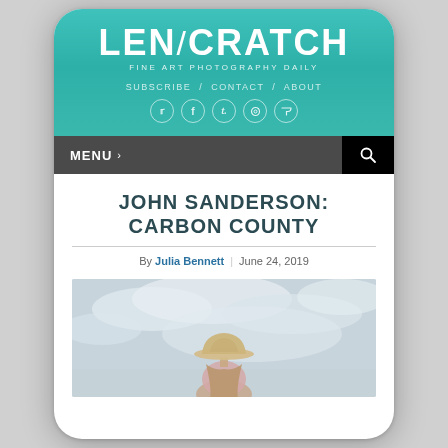LENSCRATCH FINE ART PHOTOGRAPHY DAILY
SUBSCRIBE / CONTACT / ABOUT
[Figure (screenshot): Social media icons: Twitter, Facebook, Tumblr, Instagram, RSS]
MENU >
JOHN SANDERSON: CARBON COUNTY
By Julia Bennett | June 24, 2019
[Figure (photo): A person wearing a cowboy hat and floral top, seen from behind against a cloudy sky]